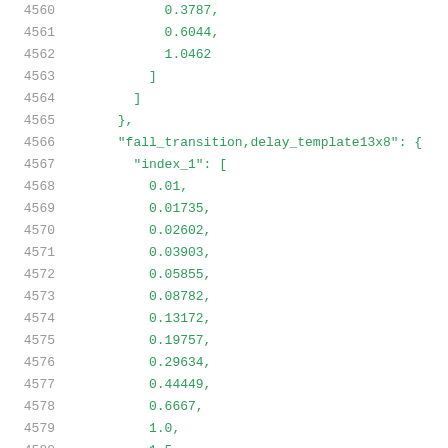Code listing lines 4560-4580: JSON data structure with fall_transition delay_template13x8 and index_1 array values
4560: 0.3787,
4561: 0.6044,
4562: 1.0462
4563: ]
4564: ]
4565: },
4566: "fall_transition,delay_template13x8": {
4567: "index_1": [
4568: 0.01,
4569: 0.01735,
4570: 0.02602,
4571: 0.03903,
4572: 0.05855,
4573: 0.08782,
4574: 0.13172,
4575: 0.19757,
4576: 0.29634,
4577: 0.44449,
4578: 0.6667,
4579: 1.0,
4580: 1.5